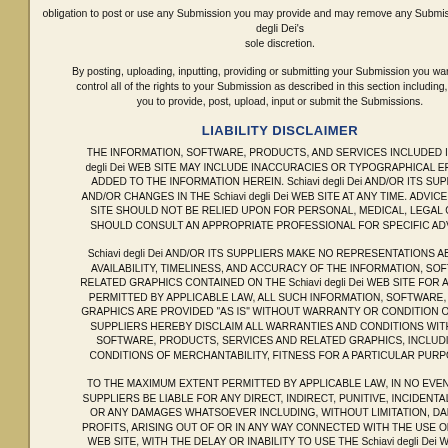obligation to post or use any Submission you may provide and may remove any Submission at Schiavi degli Dei's sole discretion.
By posting, uploading, inputting, providing or submitting your Submission you warrant and agree that you own or otherwise control all of the rights to your Submission as described in this section including, without limitation, all the rights necessary for you to provide, post, upload, input or submit the Submissions.
LIABILITY DISCLAIMER
THE INFORMATION, SOFTWARE, PRODUCTS, AND SERVICES INCLUDED IN OR AVAILABLE THROUGH THE Schiavi degli Dei WEB SITE MAY INCLUDE INACCURACIES OR TYPOGRAPHICAL ERRORS. CHANGES ARE PERIODICALLY ADDED TO THE INFORMATION HEREIN. Schiavi degli Dei AND/OR ITS SUPPLIERS MAY MAKE IMPROVEMENTS AND/OR CHANGES IN THE Schiavi degli Dei WEB SITE AT ANY TIME. ADVICE RECEIVED VIA THE Schiavi degli Dei WEB SITE SHOULD NOT BE RELIED UPON FOR PERSONAL, MEDICAL, LEGAL OR FINANCIAL DECISIONS AND YOU SHOULD CONSULT AN APPROPRIATE PROFESSIONAL FOR SPECIFIC ADVICE TAILORED TO YOUR SITUATION.
Schiavi degli Dei AND/OR ITS SUPPLIERS MAKE NO REPRESENTATIONS ABOUT THE SUITABILITY, RELIABILITY, AVAILABILITY, TIMELINESS, AND ACCURACY OF THE INFORMATION, SOFTWARE, PRODUCTS, SERVICES AND RELATED GRAPHICS CONTAINED ON THE Schiavi degli Dei WEB SITE FOR ANY PURPOSE. TO THE MAXIMUM EXTENT PERMITTED BY APPLICABLE LAW, ALL SUCH INFORMATION, SOFTWARE, PRODUCTS, SERVICES AND RELATED GRAPHICS ARE PROVIDED "AS IS" WITHOUT WARRANTY OR CONDITION OF ANY KIND. Schiavi degli Dei AND/OR ITS SUPPLIERS HEREBY DISCLAIM ALL WARRANTIES AND CONDITIONS WITH REGARD TO THIS INFORMATION, SOFTWARE, PRODUCTS, SERVICES AND RELATED GRAPHICS, INCLUDING ALL IMPLIED WARRANTIES OR CONDITIONS OF MERCHANTABILITY, FITNESS FOR A PARTICULAR PURPOSE,
TO THE MAXIMUM EXTENT PERMITTED BY APPLICABLE LAW, IN NO EVENT SHALL Schiavi degli Dei AND/OR ITS SUPPLIERS BE LIABLE FOR ANY DIRECT, INDIRECT, PUNITIVE, INCIDENTAL, SPECIAL, CONSEQUENTIAL DAMAGES OR ANY DAMAGES WHATSOEVER INCLUDING, WITHOUT LIMITATION, DAMAGES FOR LOSS OF USE, DATA OR PROFITS, ARISING OUT OF OR IN ANY WAY CONNECTED WITH THE USE OR PERFORMANCE OF THE Schiavi degli Dei WEB SITE, WITH THE DELAY OR INABILITY TO USE THE Schiavi degli Dei WEB SITE OR RELATED SERVICES, THE PROVISION OF OR FAILURE TO PROVIDE SERVICES, OR FOR ANY INFORMATION, SOFTWARE, PRODUCTS, SERVICES AND RELATED GRAPHICS OBTAINED THROUGH THE Schiavi degli Dei WEB SITE, OR OTHERWISE ARISING OUT OF THE USE OF THE Schiavi degli Dei WEB SITE, WHETHER BASED ON CONTRACT, TORT, NEGLIGENCE, STRICT LIABILITY OR OTHERWISE, EVEN IF Schiavi degli Dei OR ANY OF ITS SUPPLIERS HAS BEEN ADVISED OF THE POSSIBILITY OF DAMAGES. BECAUSE SOME STATES/JURISDICTIONS DO NOT ALLOW THE EXCLUSION OR LIMITATION OF LIABILITY FOR CONSEQUENTIAL OR INCIDENTAL DAMAGES, THE ABOVE LIMITATION MAY NOT APPLY TO YOU. IF YOU ARE DISSATISFIED WITH ANY PORTION OF THE Schiavi degli Dei WEB SITE, OR WITH ANY OF THESE TERMS OF USE, YOUR SOLE AND EXCLUSIVE REMEDY IS TO DISCONTINUE USING THE Schiavi degli Dei WEB SITE.